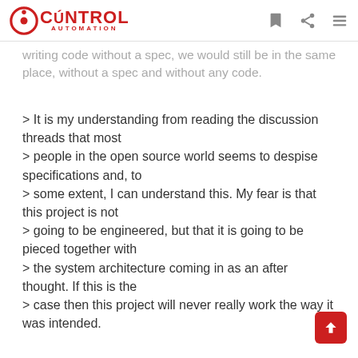CONTROL AUTOMATION
writing code without a spec, we would still be in the same place, without a spec and without any code.
> It is my understanding from reading the discussion threads that most
> people in the open source world seems to despise specifications and, to
> some extent, I can understand this. My fear is that this project is not
> going to be engineered, but that it is going to be pieced together with
> the system architecture coming in as an after thought. If this is the
> case then this project will never really work the way it was intended.